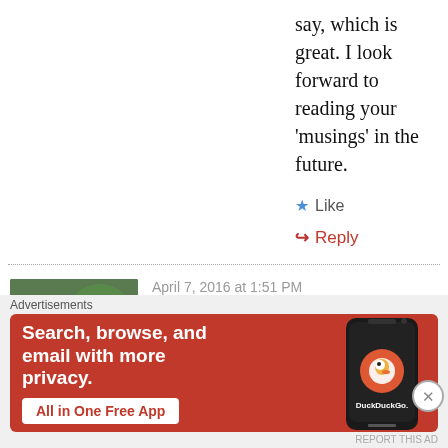say, which is great. I look forward to reading your ‘musings’ in the future.
★ Like
↪ Reply
April 7, 2016 at 1:51 PM
Barbara Fisher
Thanks for visiting my blog, and welcome to the world of blogging! I am kind of new too. I started in January. I just checked out your
Advertisements
[Figure (infographic): DuckDuckGo advertisement banner with orange-red background. Text reads: Search, browse, and email with more privacy. All in One Free App. Shows a phone with DuckDuckGo logo.]